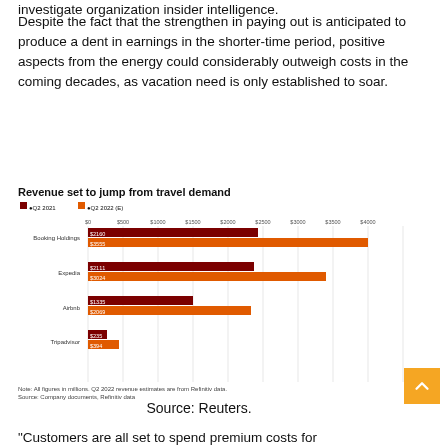Despite the fact that the strengthen in paying out is anticipated to produce a dent in earnings in the shorter-time period, positive aspects from the energy could considerably outweigh costs in the coming decades, as vacation need is only established to soar.
Revenue set to jump from travel demand
[Figure (grouped-bar-chart): Revenue set to jump from travel demand]
Note: All figures in millions. Q2 2022 revenue estimates are from Refinitiv data.
Source: Company documents, Refinitiv data
Source: Reuters.
“Customers are all set to spend premium costs for